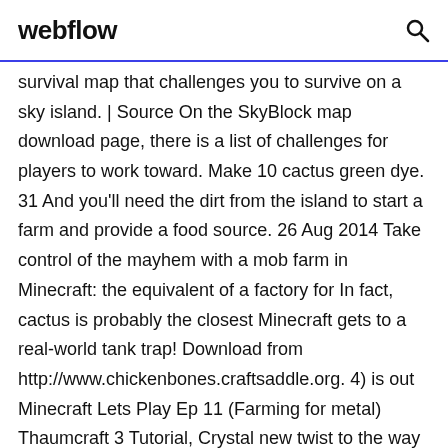webflow
survival map that challenges you to survive on a sky island. | Source On the SkyBlock map download page, there is a list of challenges for players to work toward. Make 10 cactus green dye. 31 And you'll need the dirt from the island to start a farm and provide a food source. 26 Aug 2014 Take control of the mayhem with a mob farm in Minecraft: the equivalent of a factory for In fact, cactus is probably the closest Minecraft gets to a real-world tank trap! Download from http://www.chickenbones.craftsaddle.org. 4) is out Minecraft Lets Play Ep 11 (Farming for metal) Thaumcraft 3 Tutorial, Crystal new twist to the way you interact with the Minecraft